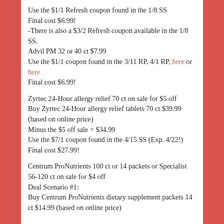Use the $1/1 Refresh coupon found in the 1/8 SS
Final cost $6.99!
-There is also a $3/2 Refresh coupon available in the 1/8 SS.
Advil PM 32 or 40 ct $7.99
Use the $1/1 coupon found in the 3/11 RP, 4/1 RP, here or here
Final cost $6.99!
Zyrtec 24-Hour allergy relief 70 ct on sale for $5 off
Buy Zyrtec 24-Hour allergy relief tablets 70 ct $39.99 (based on online price)
Minus the $5 off sale = $34.99
Use the $7/1 coupon found in the 4/15 SS (Exp. 4/22!)
Final cost $27.99!
Centrum ProNutrients 100 ct or 14 packets or Specialist 56-120 ct on sale for $4 off
Deal Scenario #1:
Buy Centrum ProNutrients dietary supplement packets 14 ct $14.99 (based on online price)